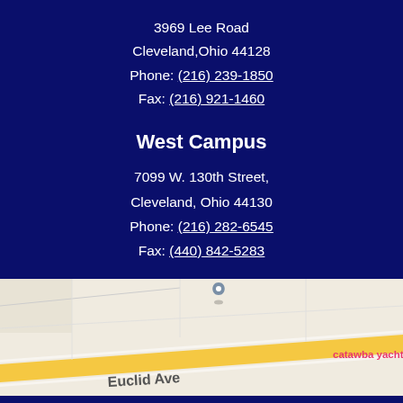3969 Lee Road
Cleveland,Ohio 44128
Phone: (216) 239-1850
Fax: (216) 921-1460
West Campus
7099 W. 130th Street,
Cleveland, Ohio 44130
Phone: (216) 282-6545
Fax: (440) 842-5283
[Figure (map): Google Maps snippet showing Euclid Ave area with catawba yacht club marker, route 20 sign, and two location pins]
Calendar
Parent Portal
Homework
Directions